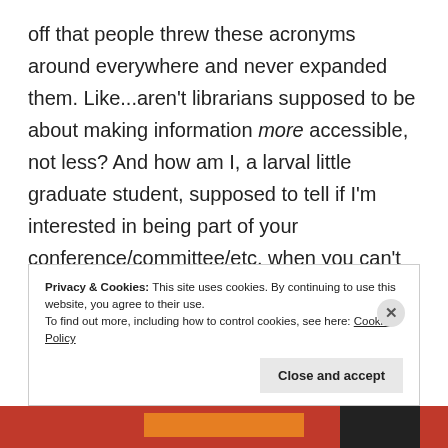off that people threw these acronyms around everywhere and never expanded them. Like...aren't librarians supposed to be about making information more accessible, not less? And how am I, a larval little graduate student, supposed to tell if I'm interested in being part of your conference/committee/etc. when you can't be bothered to tell me what your acronym means? Do not make me Google to understand your email, not least because there is some irony.
Privacy & Cookies: This site uses cookies. By continuing to use this website, you agree to their use.
To find out more, including how to control cookies, see here: Cookie Policy